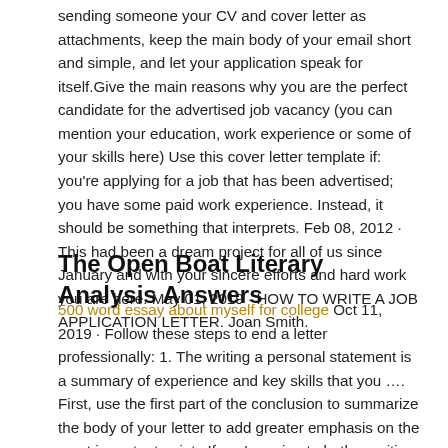sending someone your CV and cover letter as attachments, keep the main body of your email short and simple, and let your application speak for itself.Give the main reasons why you are the perfect candidate for the advertised job vacancy (you can mention your education, work experience or some of your skills here) Use this cover letter template if: you're applying for a job that has been advertised; you have some paid work experience. Instead, it should be something that interprets. Feb 08, 2012 · This had been a dream project for all of us since January and with your sincere efforts and hard work you are here. May 01, 2019 · HOW TO WRITE A JOB APPLICATION LETTER. Joan Smith.
The Open Boat Literary Analysis Answers
500 word essay about myself for college Oct 11, 2019 · Follow these steps to end a letter professionally: 1. The writing a personal statement is a summary of experience and key skills that you …. First, use the first part of the conclusion to summarize the body of your letter to add greater emphasis on the most important points If you're going to bother writing a cover letter at all, make sure you write one employers will